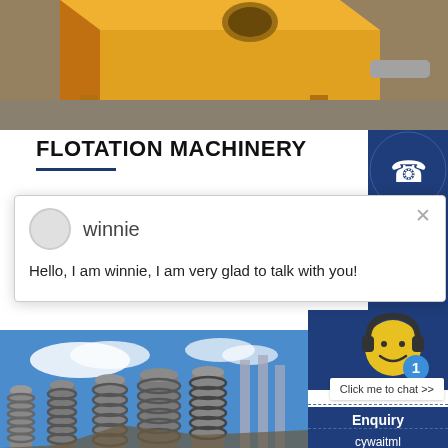[Figure (photo): Yellow heavy machinery/flotation machine on a concrete floor, shot from above]
FLOTATION MACHINERY
Flotation machine is widely used in gold,
[Figure (screenshot): Chat popup with avatar circle, name 'winnie', and message: Hello, I am winnie, I am very glad to talk with you!]
[Figure (photo): Industrial flotation/spiral classifier equipment against blue sky]
Click me to chat >>
Enquiry
cywaitml @gmail.com